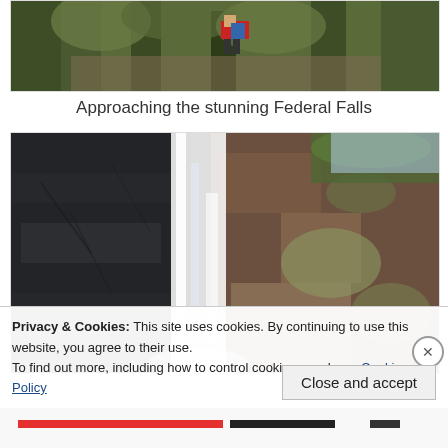[Figure (photo): Partial view of a hiker in a red jacket with a backpack on a forest trail, photo cropped at top]
Approaching the stunning Federal Falls
[Figure (photo): Close-up photograph of Federal Falls waterfall cascading down dark mossy rock face with eucalyptus trees visible at top]
Privacy & Cookies: This site uses cookies. By continuing to use this website, you agree to their use.
To find out more, including how to control cookies, see here: Cookie Policy
Close and accept